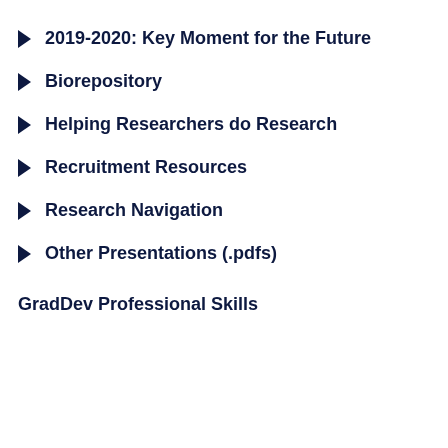2019-2020: Key Moment for the Future
Biorepository
Helping Researchers do Research
Recruitment Resources
Research Navigation
Other Presentations (.pdfs)
GradDev Professional Skills